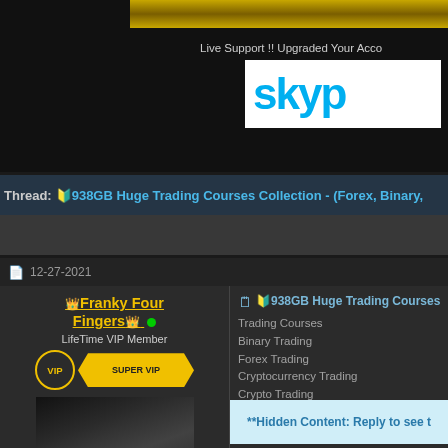Live Support !! Upgraded Your Account
Thread: 🔰938GB Huge Trading Courses Collection - (Forex, Binary,…
12-27-2021
👑Franky Four Fingers👑 • LifeTime VIP Member VIP SUPER VIP
🗒 🔰938GB Huge Trading Courses
Trading Courses
Binary Trading
Forex Trading
Cryptocurrency Trading
Crypto Trading
All courses are from the Best Institutes an…
**Hidden Content: Reply to see t…